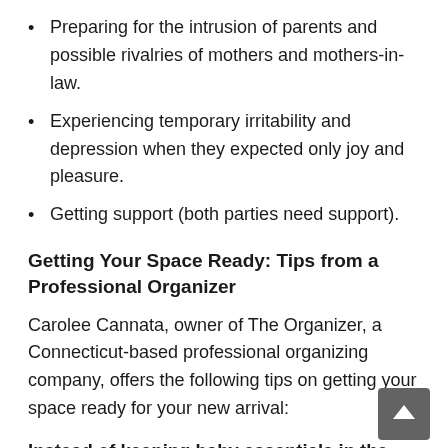Preparing for the intrusion of parents and possible rivalries of mothers and mothers-in-law.
Experiencing temporary irritability and depression when they expected only joy and pleasure.
Getting support (both parties need support).
Getting Your Space Ready: Tips from a Professional Organizer
Carolee Cannata, owner of The Organizer, a Connecticut-based professional organizing company, offers the following tips on getting your space ready for your new arrival:
Instead of keeping baby essentials in the